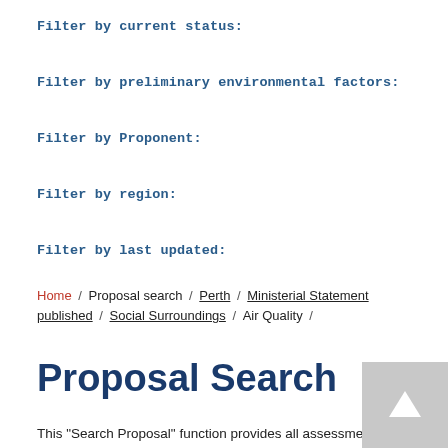Filter by current status:
Filter by preliminary environmental factors:
Filter by Proponent:
Filter by region:
Filter by last updated:
Home / Proposal search / Perth / Ministerial Statement published / Social Surroundings / Air Quality /
Proposal Search
This "Search Proposal" function provides all assessment